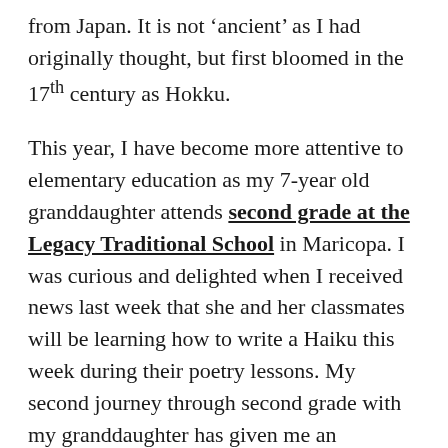from Japan.  It is not 'ancient' as I had originally thought, but first bloomed in the 17th century as Hokku.
This year, I have become more attentive to elementary education as my 7-year old granddaughter attends second grade at the Legacy Traditional School in Maricopa.  I was curious and delighted when I received news last week that she and her classmates will be learning how to write a Haiku this week during their poetry lessons.  My second journey through second grade with my granddaughter has given me an opportunity to learn and grow...